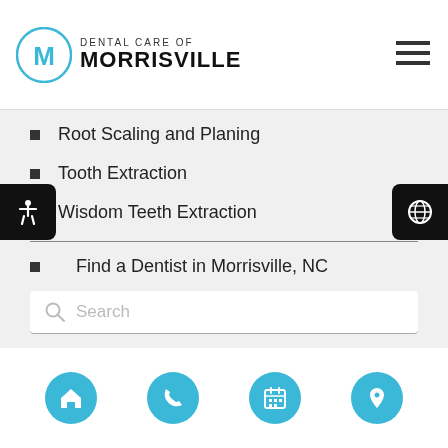[Figure (logo): Dental Care of Morrisville logo with circular M icon and hamburger menu icon]
Root Scaling and Planing
Tooth Extraction
Wisdom Teeth Extraction
Find a Dentist in Morrisville, NC
[Figure (screenshot): Search input box with magnifying glass icon and placeholder text 'Search']
[Figure (screenshot): Search button (rounded, blue) with label 'Search']
[Figure (screenshot): Bottom navigation bar with four circular blue icon buttons: home, phone, calendar, location pin]